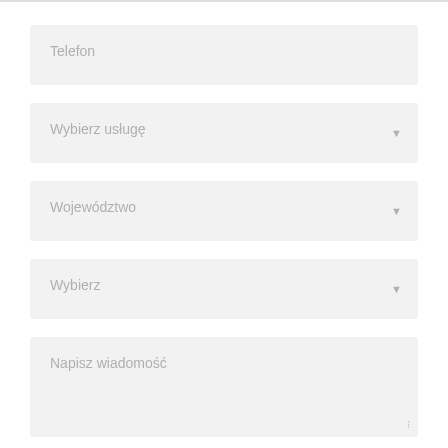Telefon
Wybierz usługę
Województwo
Wybierz
Napisz wiadomość